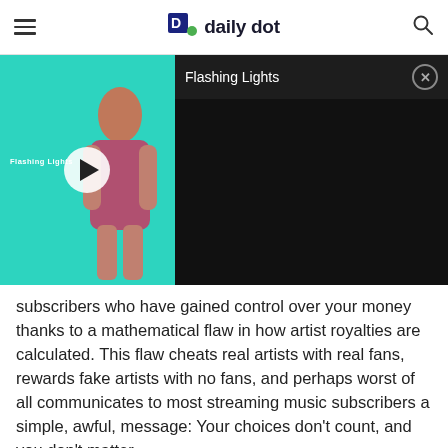daily dot
[Figure (screenshot): Video player showing 'Flashing Lights' with teal background and person silhouette on left, dark panel with title bar on right. Play button visible. Close button (X) in top right.]
subscribers who have gained control over your money thanks to a mathematical flaw in how artist royalties are calculated. This flaw cheats real artists with real fans, rewards fake artists with no fans, and perhaps worst of all communicates to most streaming music subscribers a simple, awful, message: Your choices don't count, and you don't matter.
Advertisement
[Figure (other): Advertisement banner: Treat your cat the best with Delectables cat treats, available at amazon]